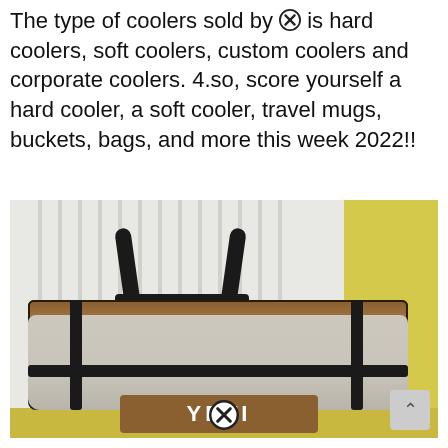The type of coolers sold by yeti is hard coolers, soft coolers, custom coolers and corporate coolers. 4.so, score yourself a hard cooler, a soft cooler, travel mugs, buckets, bags, and more this week 2022!!
[Figure (photo): Photo of a tan/gray YETI soft cooler bag with black handles, black straps and trim, YETI logo on the front, placed against a white curtained background with yellow wall on the right side.]